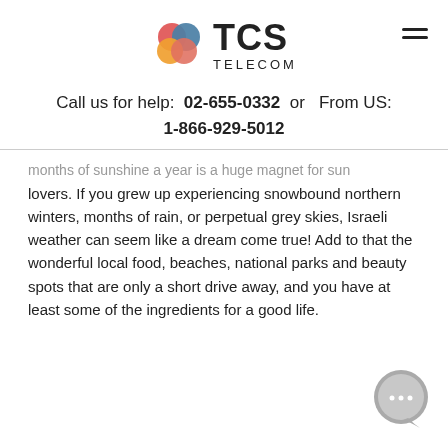TCS TELECOM
Call us for help: 02-655-0332 or From US: 1-866-929-5012
...months of sunshine a year is a huge magnet for sun lovers. If you grew up experiencing snowbound northern winters, months of rain, or perpetual grey skies, Israeli weather can seem like a dream come true! Add to that the wonderful local food, beaches, national parks and beauty spots that are only a short drive away, and you have at least some of the ingredients for a good life.